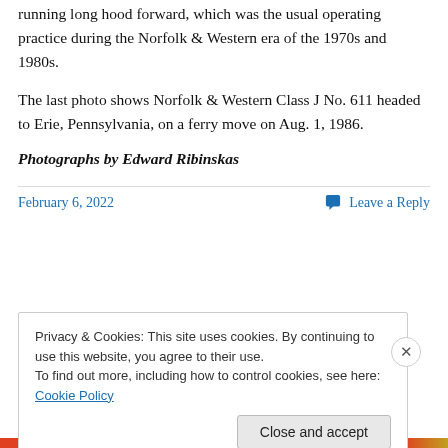running long hood forward, which was the usual operating practice during the Norfolk & Western era of the 1970s and 1980s.
The last photo shows Norfolk & Western Class J No. 611 headed to Erie, Pennsylvania, on a ferry move on Aug. 1, 1986.
Photographs by Edward Ribinskas
February 6, 2022
Leave a Reply
Privacy & Cookies: This site uses cookies. By continuing to use this website, you agree to their use.
To find out more, including how to control cookies, see here: Cookie Policy